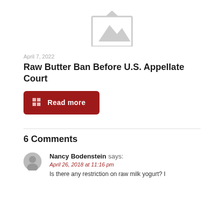[Figure (illustration): Grey placeholder image icon showing a mountain/landscape silhouette inside a picture frame, centered at the top of the page]
April 7, 2022
Raw Butter Ban Before U.S. Appellate Court
Read more
6 Comments
Nancy Bodenstein says: April 26, 2018 at 11:16 pm
Is there any restriction on raw milk yogurt? I